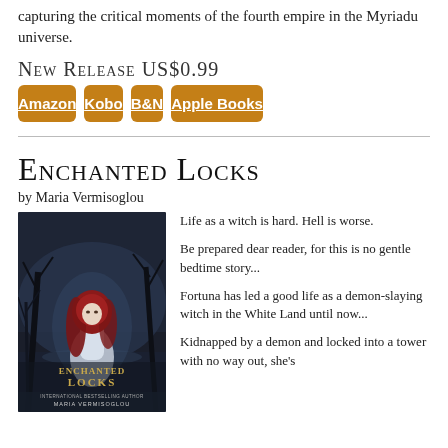capturing the critical moments of the fourth empire in the Myriadu universe.
New Release US$0.99
Amazon
Kobo
B&N
Apple Books
Enchanted Locks
by Maria Vermisoglou
[Figure (illustration): Book cover for 'Enchanted Locks' by Maria Vermisoglou (International Bestselling Author) showing a woman with long red hair in a white dress against a dark, moody forest background with the title 'ENCHANTED LOCKS' prominently displayed.]
Life as a witch is hard. Hell is worse.

Be prepared dear reader, for this is no gentle bedtime story...

Fortuna has led a good life as a demon-slaying witch in the White Land until now...

Kidnapped by a demon and locked into a tower with no way out, she's